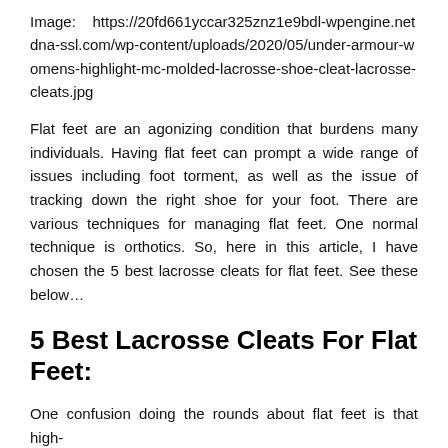Image:    https://20fd661yccar325znz1e9bdl-wpengine.netdna-ssl.com/wp-content/uploads/2020/05/under-armour-womens-highlight-mc-molded-lacrosse-shoe-cleat-lacrosse-cleats.jpg
Flat feet are an agonizing condition that burdens many individuals. Having flat feet can prompt a wide range of issues including foot torment, as well as the issue of tracking down the right shoe for your foot. There are various techniques for managing flat feet. One normal technique is orthotics. So, here in this article, I have chosen the 5 best lacrosse cleats for flat feet. See these below…
5 Best Lacrosse Cleats For Flat Feet:
One confusion doing the rounds about flat feet is that high-